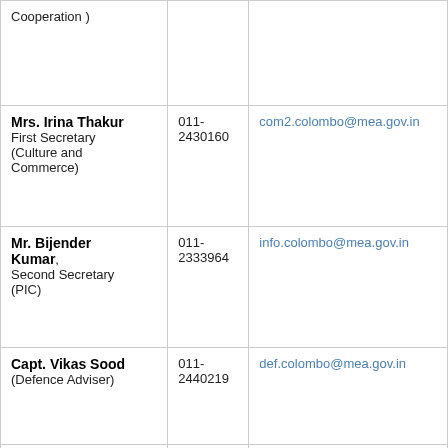| Name/Title | Phone | Email |
| --- | --- | --- |
| Cooperation ) |  |  |
| Mrs. Irina Thakur
First Secretary (Culture and Commerce) | 011-2430160 | com2.colombo@mea.gov.in |
| Mr. Bijender Kumar,
Second Secretary (PIC) | 011-2333964 | info.colombo@mea.gov.in |
| Capt. Vikas Sood
(Defence Adviser) | 011-2440219 | def.colombo@mea.gov.in |
| Lt. Col. Puneet Sushil
(Assistant Defence Adviser) | 011-2422158 | def.colombo@mea.gov.in |